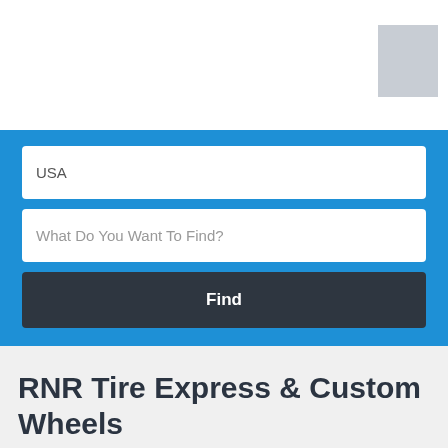[Figure (screenshot): Gray placeholder image box in top-right corner]
USA
What Do You Want To Find?
Find
RNR Tire Express & Custom Wheels
3141 North Pleasantburg Drive, Greenville, SC, United States